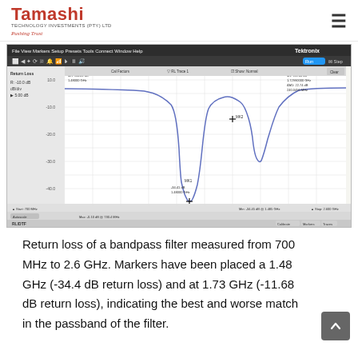Tamashi — TECHNOLOGY INVESTMENTS (PTY) LTD — Pushing Trust
[Figure (screenshot): Tektronix VNA software screenshot showing Return Loss measurement of a bandpass filter from 700 MHz to 2.6 GHz. Two markers placed: Marker 1 at 1.48 GHz showing -34.4 dB return loss (deep notch), Marker 2 at 1.73 GHz showing -11.68 dB return loss. The trace shows a curve dipping sharply around 1.48 GHz and a secondary dip around 1.73 GHz.]
Return loss of a bandpass filter measured from 700 MHz to 2.6 GHz. Markers have been placed a 1.48 GHz (-34.4 dB return loss) and at 1.73 GHz (-11.68 dB return loss), indicating the best and worse match in the passband of the filter.